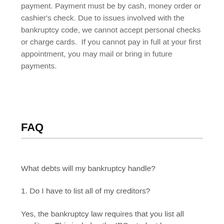payment. Payment must be by cash, money order or cashier's check. Due to issues involved with the bankruptcy code, we cannot accept personal checks or charge cards.  If you cannot pay in full at your first appointment, you may mail or bring in future payments.
FAQ
What debts will my bankruptcy handle?
1. Do I have to list all of my creditors?
Yes, the bankruptcy law requires that you list all creditors. This includes the IRS, student loans, your car(s) and